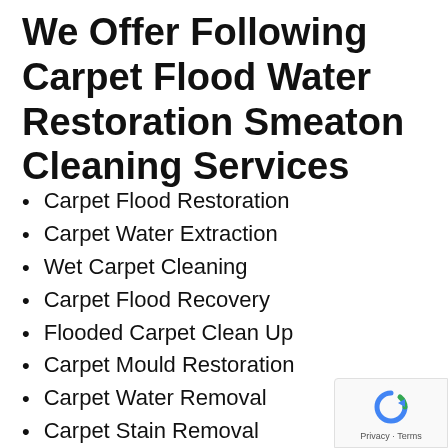We Offer Following Carpet Flood Water Restoration Smeaton Cleaning Services
Carpet Flood Restoration
Carpet Water Extraction
Wet Carpet Cleaning
Carpet Flood Recovery
Flooded Carpet Clean Up
Carpet Mould Restoration
Carpet Water Removal
Carpet Stain Removal
Carpet Cleaning
Emergency Flood Water Carpet Cleaning
Emergency Carpet Drying Smeaton
Emergency Flooded and Wet Carpet Dry… Services Smeaton